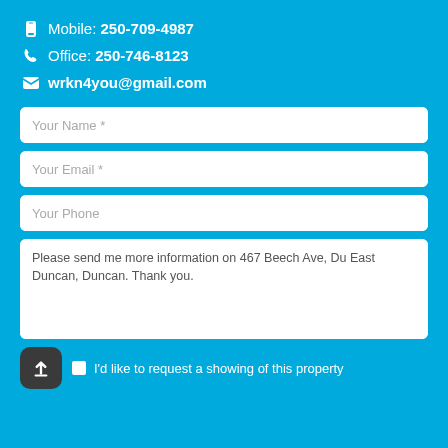📱 Mobile: 250-709-4987
📞 Office: 250-746-8123
✉ wrkn4you@gmail.com
Your Name *
Your Email *
Your Phone
Please send me more information on 467 Beech Ave, Du East Duncan, Duncan. Thank you.
I'd like to request a showing of this property